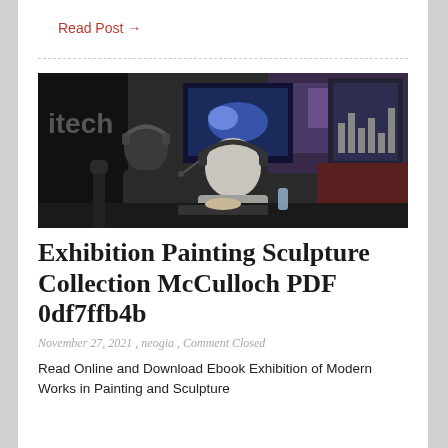Read Post →
[Figure (photo): Two people wearing headsets sitting at computers in a dark room, appearing to be at a gaming or esports event. Monitors and screens visible in background.]
Exhibition Painting Sculpture Collection McCulloch PDF 0df7ffb4b
November 27, 2021 , neogia , Comment Closed
Read Online and Download Ebook Exhibition of Modern Works in Painting and Sculpture